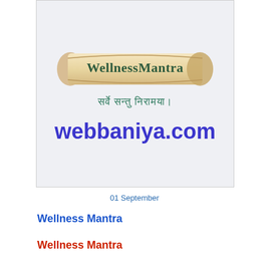[Figure (logo): WellnessMantra logo showing a scroll banner with 'WellnessMantra' text and Sanskrit text below, plus webbaniya.com text at bottom]
01 September
Wellness Mantra
Wellness Mantra